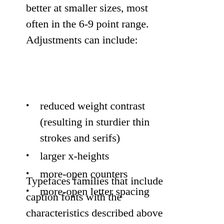better at smaller sizes, most often in the 6-9 point range. Adjustments can include:
reduced weight contrast (resulting in sturdier thin strokes and serifs)
larger x-heights
more-open counters
more-open letter spacing
Typefaces families that include caption fonts with the characteristics described above include Cleartype C...